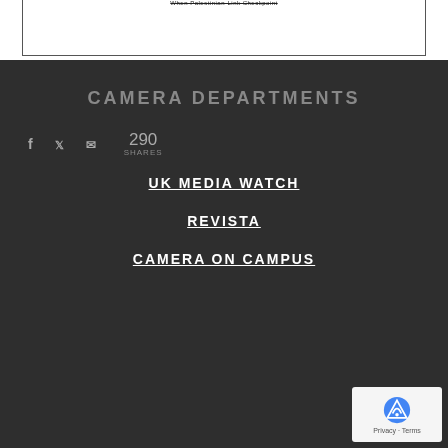When Palestinian-Link Checkpoint
CAMERA DEPARTMENTS
290 SHARES
UK MEDIA WATCH
REVISTA
CAMERA ON CAMPUS